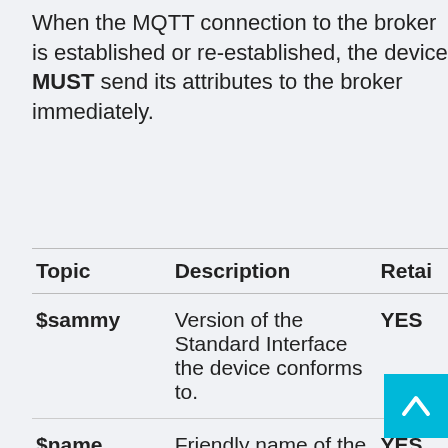When the MQTT connection to the broker is established or re-established, the device MUST send its attributes to the broker immediately.
| Topic | Description | Retain |
| --- | --- | --- |
| $sammy | Version of the Standard Interface the device conforms to. | YES |
| $name | Friendly name of the device. | YES |
| $localip | IP of the device on the local network | YES |